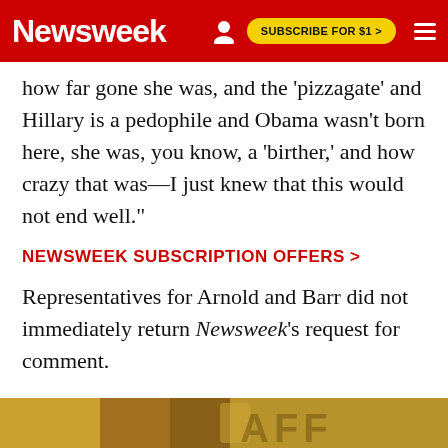Newsweek  SUBSCRIBE FOR $1 >
how far gone she was, and the 'pizzagate' and Hillary is a pedophile and Obama wasn't born here, she was, you know, a 'birther,' and how crazy that was—I just knew that this would not end well."
NEWSWEEK SUBSCRIPTION OFFERS >
Representatives for Arnold and Barr did not immediately return Newsweek's request for comment.
[Figure (photo): Partial bottom image, appears to show food or objects with text overlay showing partial letters 'AFF']